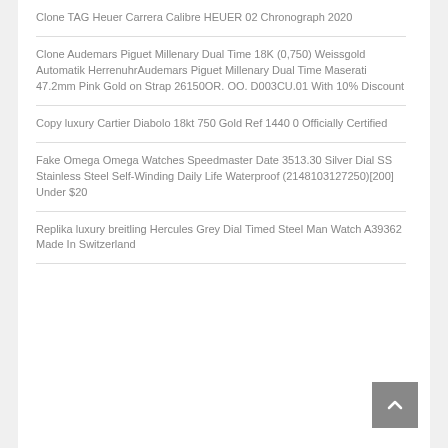Clone TAG Heuer Carrera Calibre HEUER 02 Chronograph 2020
Clone Audemars Piguet Millenary Dual Time 18K (0,750) Weissgold Automatik HerrenuhrAudemars Piguet Millenary Dual Time Maserati 47.2mm Pink Gold on Strap 26150OR. OO. D003CU.01 With 10% Discount
Copy luxury Cartier Diabolo 18kt 750 Gold Ref 1440 0 Officially Certified
Fake Omega Omega Watches Speedmaster Date 3513.30 Silver Dial SS Stainless Steel Self-Winding Daily Life Waterproof (2148103127250)[200] Under $20
Replika luxury breitling Hercules Grey Dial Timed Steel Man Watch A39362 Made In Switzerland